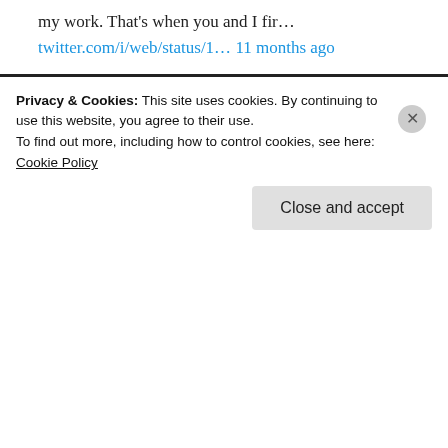my work. That's when you and I fir…
twitter.com/i/web/status/1… 11 months ago
Charles Mills, my mentor, my dear friend, just passed away a few minutes ago. I would not be who I am without his g…
twitter.com/i/web/status/1… 11 months ago
[Figure (other): Follow @FalguniSheth Twitter follow button]
Privacy & Cookies: This site uses cookies. By continuing to use this website, you agree to their use.
To find out more, including how to control cookies, see here:
Cookie Policy
Close and accept